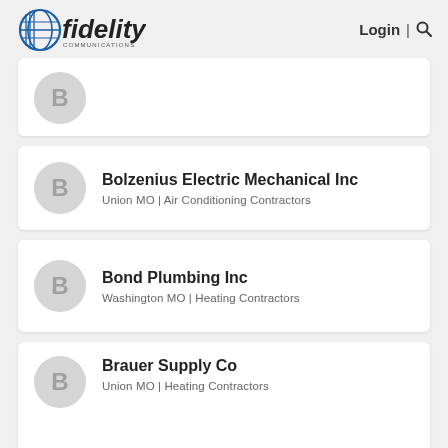Fidelity Communications | Login | Search
B — (partial card, no text visible)
Bolzenius Electric Mechanical Inc — Union MO | Air Conditioning Contractors
Bond Plumbing Inc — Washington MO | Heating Contractors
Brauer Supply Co — Union MO | Heating Contractors